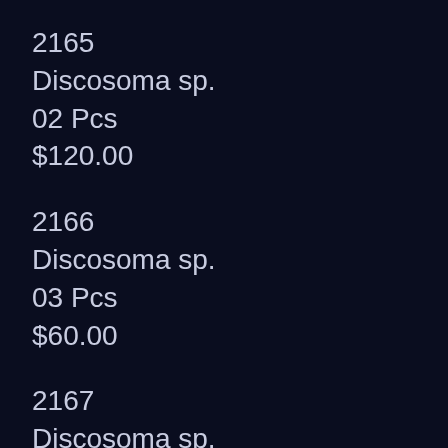2165
Discosoma sp.
02 Pcs
$120.00
2166
Discosoma sp.
03 Pcs
$60.00
2167
Discosoma sp.